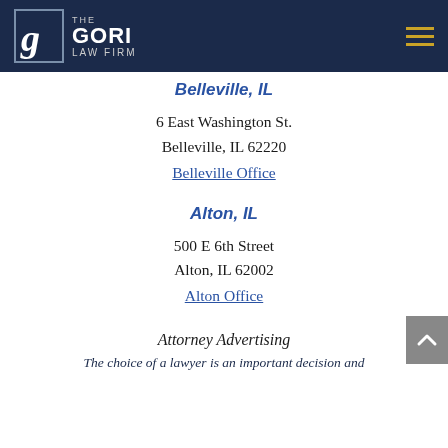The Gori Law Firm
Belleville, IL
6 East Washington St.
Belleville, IL 62220
Belleville Office
Alton, IL
500 E 6th Street
Alton, IL 62002
Alton Office
Attorney Advertising
The choice of a lawyer is an important decision and...